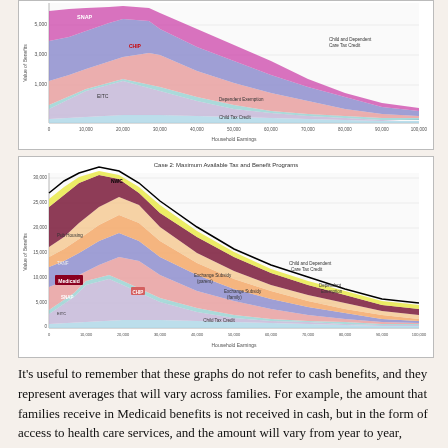[Figure (area-chart): Top cropped area chart showing tax and benefit programs (Case 1) including SNAP, CHIP, NWC, EITC, Child Tax Credit, Dependent Exemption, Child and Dependent Care Tax Credit, by household earnings]
[Figure (area-chart): Area chart showing value of benefits vs household earnings for Case 2, including NWC, Pub Housing, TANF, Exchange Subsidy (parent), Exchange Subsidy (family), Medicaid, CHIP, SNAP, EITC, Child Tax Credit, Child and Dependent Care Tax Credit, Dependent Exemption]
It's useful to remember that these graphs do not refer to cash benefits, and they represent averages that will vary across families. For example, the amount that families receive in Medicaid benefits is not received in cash, but in the form of access to health care services, and the amount will vary from year to year, depending on health. I find the details of these figures interesting for what they reveal about the size of spending and support from different programs and the income range over which programs operate. For example,